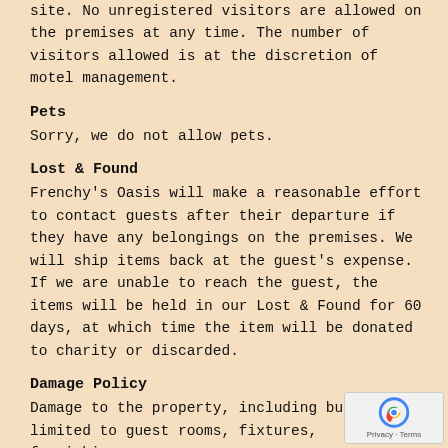site. No unregistered visitors are allowed on the premises at any time. The number of visitors allowed is at the discretion of motel management.
Pets
Sorry, we do not allow pets.
Lost & Found
Frenchy's Oasis will make a reasonable effort to contact guests after their departure if they have any belongings on the premises. We will ship items back at the guest's expense. If we are unable to reach the guest, the items will be held in our Lost & Found for 60 days, at which time the item will be donated to charity or discarded.
Damage Policy
Damage to the property, including but not limited to guest rooms, fixtures, furnishings,